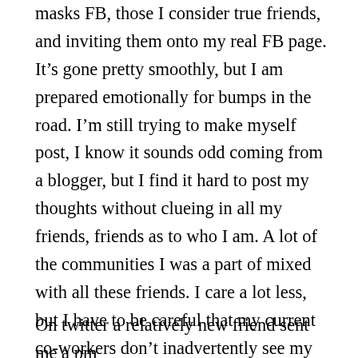masks FB, those I consider true friends, and inviting them onto my real FB page. It's gone pretty smoothly, but I am prepared emotionally for bumps in the road. I'm still trying to make myself post, I know it sounds odd coming from a blogger, but I find it hard to post my thoughts without clueing in all my friends, friends as to who I am. A lot of the communities I was a part of mixed with all these friends. I care a lot less, but I have to be careful that my current co-workers don't inadvertently see my posts. It's a tangled web of friends we weave upon the interweb.
On twitter a relatively new friend sent me a pm